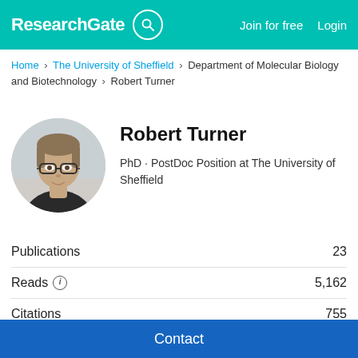ResearchGate   Join for free   Login
Home > The University of Sheffield > Department of Molecular Biology and Biotechnology > Robert Turner
[Figure (photo): Circular profile photo of Robert Turner, a young man with glasses and light brown hair, wearing a dark shirt.]
Robert Turner
PhD · PostDoc Position at The University of Sheffield
| Metric | Value |
| --- | --- |
| Publications | 23 |
| Reads | 5,162 |
| Citations | 755 |
Find out how we calculate Stats on ResearchGate
Contact